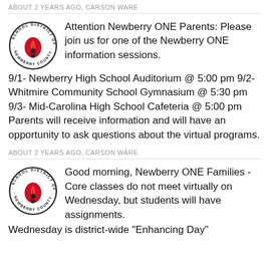ABOUT 2 YEARS AGO, CARSON WARE
[Figure (logo): School District of Newberry County circular logo with red flame/torch emblem]
Attention Newberry ONE Parents: Please join us for one of the Newberry ONE information sessions. 9/1- Newberry High School Auditorium @ 5:00 pm 9/2- Whitmire Community School Gymnasium @ 5:30 pm 9/3- Mid-Carolina High School Cafeteria @ 5:00 pm Parents will receive information and will have an opportunity to ask questions about the virtual programs.
ABOUT 2 YEARS AGO, CARSON WARE
[Figure (logo): School District of Newberry County circular logo with red flame/torch emblem]
Good morning, Newberry ONE Families - Core classes do not meet virtually on Wednesday, but students will have assignments. Wednesday is district-wide "Learning Day"